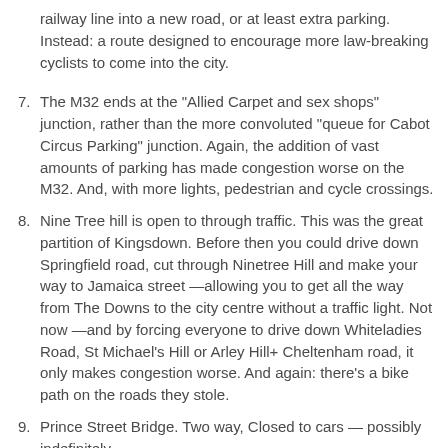railway line into a new road, or at least extra parking. Instead: a route designed to encourage more law-breaking cyclists to come into the city.
7. The M32 ends at the "Allied Carpet and sex shops" junction, rather than the more convoluted "queue for Cabot Circus Parking" junction. Again, the addition of vast amounts of parking has made congestion worse on the M32. And, with more lights, pedestrian and cycle crossings.
8. Nine Tree hill is open to through traffic. This was the great partition of Kingsdown. Before then you could drive down Springfield road, cut through Ninetree Hill and make your way to Jamaica street —allowing you to get all the way from The Downs to the city centre without a traffic light. Not now —and by forcing everyone to drive down Whiteladies Road, St Michael's Hill or Arley Hill+ Cheltenham road, it only makes congestion worse. And again: there's a bike path on the roads they stole.
9. Prince Street Bridge. Two way, Closed to cars — possibly indefinitely.